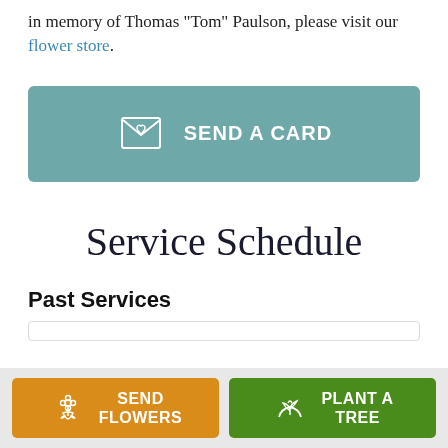in memory of Thomas "Tom" Paulson, please visit our flower store.
[Figure (other): Send a Card button with greeting card icon on teal/muted blue-green background]
Service Schedule
Past Services
[Figure (other): Send Flowers button with bouquet icon on orange background and Plant a Tree button with seedling icon on green background, side by side in bottom bar]